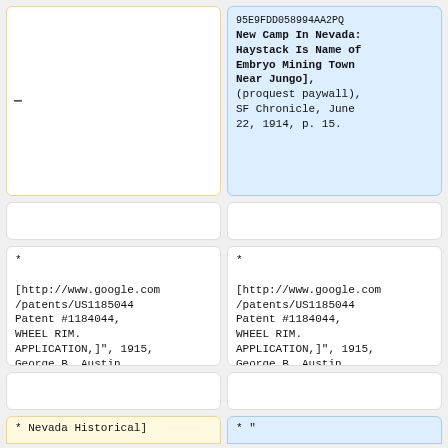95E9FDD058994AA2PQ New Camp In Nevada: Haystack Is Name of Embryo Mining Town Near Jungo], (proquest paywall), SF Chronicle, June 22, 1914, p. 15.
* [http://www.google.com/patents/US1185044 Patent #1184044, WHEEL RIM. APPLICATION,]", 1915, George B. Austin, Jungo.
* [http://www.google.com/patents/US1185044 Patent #1184044, WHEEL RIM. APPLICATION,]", 1915, George B. Austin, Jungo.
* Nevada Historical]
* "